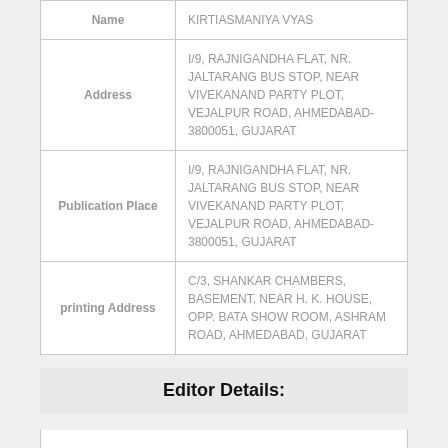| Field | Value |
| --- | --- |
| Name | KIRTIASMANIYA VYAS |
| Address | I/9, RAJNIGANDHA FLAT, NR. JALTARANG BUS STOP, NEAR VIVEKANAND PARTY PLOT, VEJALPUR ROAD, AHMEDABAD- 3800051, GUJARAT |
| Publication Place | I/9, RAJNIGANDHA FLAT, NR. JALTARANG BUS STOP, NEAR VIVEKANAND PARTY PLOT, VEJALPUR ROAD, AHMEDABAD- 3800051, GUJARAT |
| printing Address | C/3, SHANKAR CHAMBERS, BASEMENT, NEAR H. K. HOUSE, OPP. BATA SHOW ROOM, ASHRAM ROAD, AHMEDABAD, GUJARAT |
Editor Details: